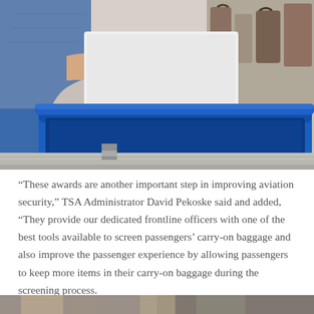[Figure (photo): A person placing a white laptop into a blue TSA security screening bin on a conveyor belt at an airport security checkpoint. The person is wearing a denim jacket and blue skirt. The blue plastic bin is prominent in the foreground on a silver metal conveyor.]
“These awards are another important step in improving aviation security,” TSA Administrator David Pekoske said and added, “They provide our dedicated frontline officers with one of the best tools available to screen passengers’ carry-on baggage and also improve the passenger experience by allowing passengers to keep more items in their carry-on baggage during the screening process.
[Figure (photo): Partial view of another photo at the bottom of the page, cropped.]